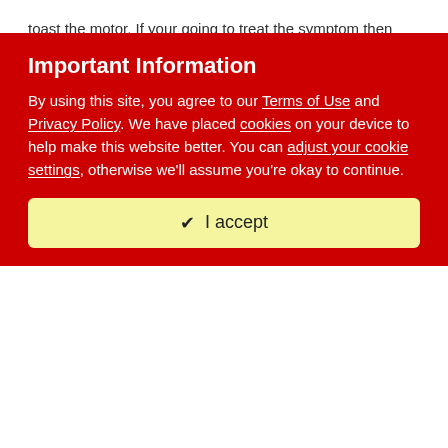toast the motor. If your going to treat the symptom then turning the cut off pressure down would be way better then a 30 amp breaker.
Macgyver55
Posted December 8, 2008
Surface Tension said:
Important Information
By using this site, you agree to our Terms of Use and Privacy Policy. We have placed cookies on your device to help make this website better. You can adjust your cookie settings, otherwise we'll assume you're okay to continue.
✔  I accept